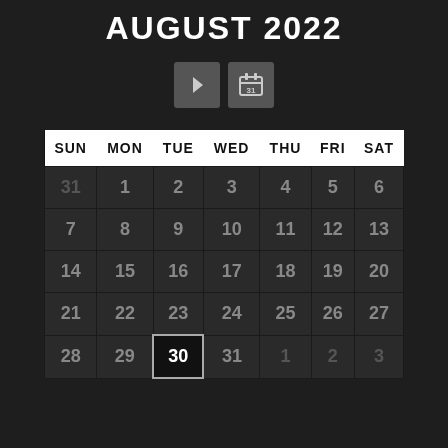AUGUST 2022
[Figure (other): Navigation buttons: a right-arrow button and a calendar icon button with '31']
| SUN | MON | TUE | WED | THU | FRI | SAT |
| --- | --- | --- | --- | --- | --- | --- |
| 31 | 1 | 2 | 3 | 4 | 5 | 6 |
| 7 | 8 | 9 | 10 | 11 | 12 | 13 |
| 14 | 15 | 16 | 17 | 18 | 19 | 20 |
| 21 | 22 | 23 | 24 | 25 | 26 | 27 |
| 28 | 29 | 30 | 31 | 1 | 2 | 3 |